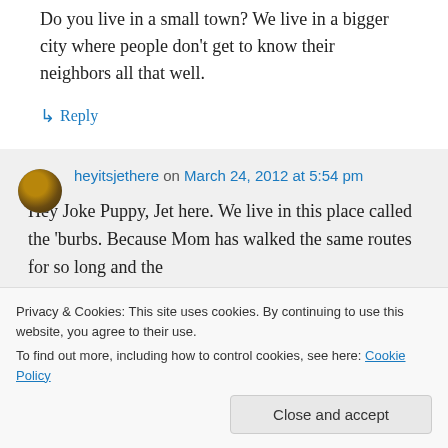Do you live in a small town? We live in a bigger city where people don't get to know their neighbors all that well.
↳ Reply
heyitsjethere on March 24, 2012 at 5:54 pm
Hey Joke Puppy, Jet here. We live in this place called the 'burbs. Because Mom has walked the same routes for so long and the
Privacy & Cookies: This site uses cookies. By continuing to use this website, you agree to their use.
To find out more, including how to control cookies, see here: Cookie Policy
Close and accept
Rachel, around the area 17 years ago!